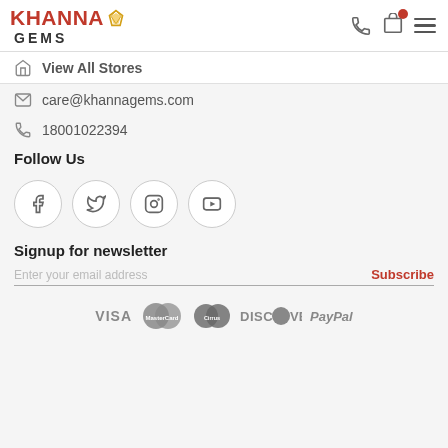[Figure (logo): Khanna Gems logo with red text and gold diamond icon]
View All Stores
care@khannagems.com
18001022394
Follow Us
[Figure (illustration): Social media icons: Facebook, Twitter, Instagram, YouTube]
Signup for newsletter
Enter your email address
Subscribe
[Figure (illustration): Payment logos: VISA, MasterCard, Cirrus, DISCOVER, PayPal]